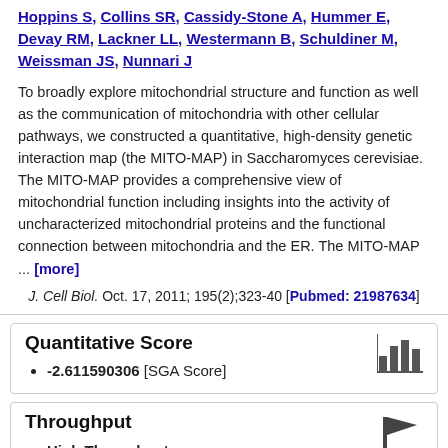Hoppins S, Collins SR, Cassidy-Stone A, Hummer E, Devay RM, Lackner LL, Westermann B, Schuldiner M, Weissman JS, Nunnari J
To broadly explore mitochondrial structure and function as well as the communication of mitochondria with other cellular pathways, we constructed a quantitative, high-density genetic interaction map (the MITO-MAP) in Saccharomyces cerevisiae. The MITO-MAP provides a comprehensive view of mitochondrial function including insights into the activity of uncharacterized mitochondrial proteins and the functional connection between mitochondria and the ER. The MITO-MAP ... [more]
J. Cell Biol. Oct. 17, 2011; 195(2);323-40 [Pubmed: 21987634]
Quantitative Score
-2.611590306 [SGA Score]
Throughput
High Throughput